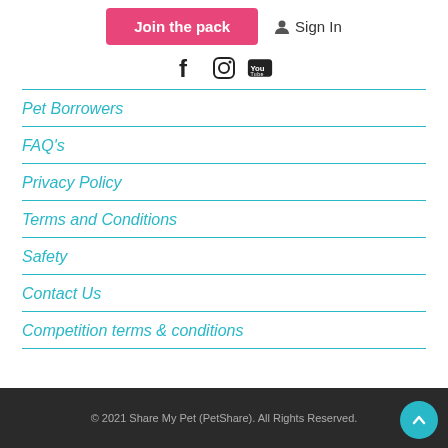[Figure (other): Join the pack pink button and Sign In link with person icon]
[Figure (other): Social media icons: Facebook, Instagram, YouTube]
Pet Borrowers
FAQ's
Privacy Policy
Terms and Conditions
Safety
Contact Us
Competition terms & conditions
© 2021 Share My Pet (PetShare). All Rights Reserved.